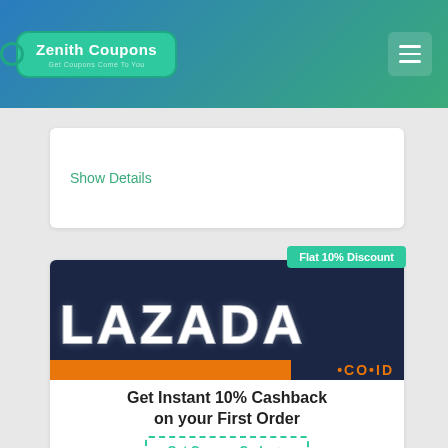Zenith Coupons — Get Coupons Come To You
Show Details
[Figure (logo): Lazada.co.id logo banner with dark navy background, large white LAZADA text, orange bar, and orange .CO.ID text. A teal badge reads 'Flat 10% Discount'.]
Get Instant 10% Cashback on your First Order
Get Coupon Code ✂
Show Details